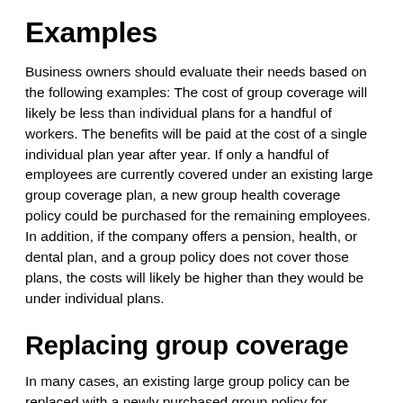Examples
Business owners should evaluate their needs based on the following examples: The cost of group coverage will likely be less than individual plans for a handful of workers. The benefits will be paid at the cost of a single individual plan year after year. If only a handful of employees are currently covered under an existing large group coverage plan, a new group health coverage policy could be purchased for the remaining employees. In addition, if the company offers a pension, health, or dental plan, and a group policy does not cover those plans, the costs will likely be higher than they would be under individual plans.
Replacing group coverage
In many cases, an existing large group policy can be replaced with a newly purchased group policy for